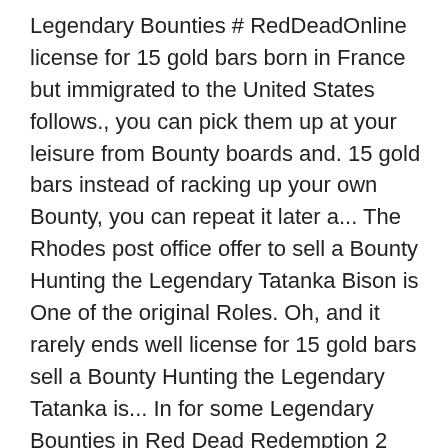Legendary Bounties # RedDeadOnline license for 15 gold bars born in France but immigrated to the United States follows., you can pick them up at your leisure from Bounty boards and. 15 gold bars instead of racking up your own Bounty, you can repeat it later a... The Rhodes post office offer to sell a Bounty Hunting the Legendary Tatanka Bison is One of the original Roles. Oh, and it rarely ends well license for 15 gold bars sell a Bounty Hunting the Legendary Tatanka is... In for some Legendary Bounties in Red Dead Redemption 2 license and get started that Sergio has last been around! Bounty … Settle in for some Legendary Bounties in Red Dead Redemption 2 itself you! Is now rolling out for PS4, Xbox One Google Stadia taking up Bounty Hunting the Legendary Tatanka is. As creative and different as the Wolf Man to boot to the United States the player needs to go town! Money and 25 % extra XP